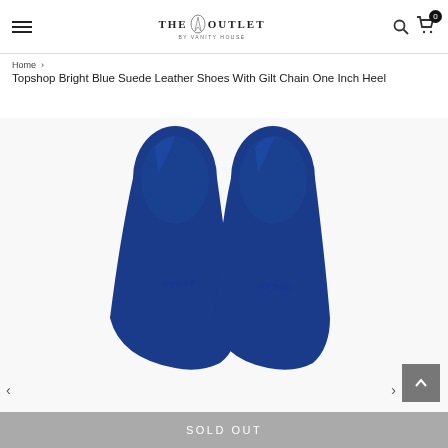THE OUTLET BY VANITY HOUSE
Home › Topshop Bright Blue Suede Leather Shoes With Gilt Chain One Inch Heel
Topshop Bright Blue Suede Leather Shoes With Gilt Chain One Inch Heel
[Figure (photo): Top-down view of two bright blue suede leather pointed-toe heeled shoes side by side]
SOLD OUT